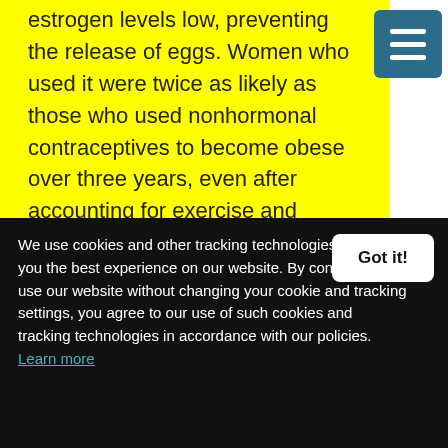estrogen levels low, preventing the release of eggs. Women who used it were twice as likely as those who used nonhormonal contraceptives to become obese over three years, even after accounting for exercise and eating habits.
It is because of the above and other published reports that I recommend agains Depo shot as a means of birth control for patient who have or area considering weight loss surgery.
We use cookies and other tracking technologies to give you the best experience on our website. By continuing to use our website without changing your cookie and tracking settings, you agree to our use of such cookies and tracking technologies in accordance with our policies. Learn more